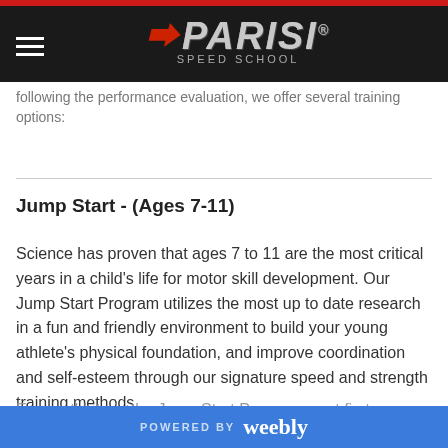Parisi Speed School - navigation header with logo
following the performance evaluation, we offer several training options:
Jump Start - (Ages 7-11)
Science has proven that ages 7 to 11 are the most critical years in a child's life for motor skill development. Our Jump Start Program utilizes the most up to date research in a fun and friendly environment to build your young athlete's physical foundation, and improve coordination and self-esteem through our signature speed and strength training methods.
Every athlete in the Jump Start Program must first co...
POWERED BY weebly